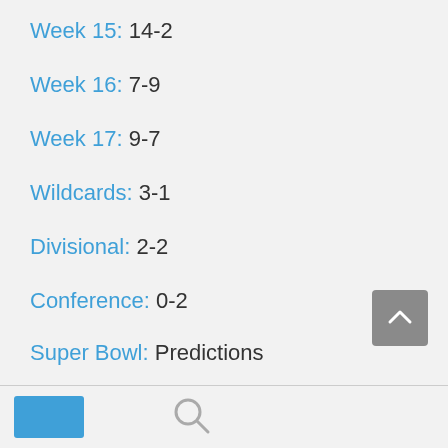Week 15: 14-2
Week 16: 7-9
Week 17: 9-7
Wildcards: 3-1
Divisional: 2-2
Conference: 0-2
Super Bowl: Predictions